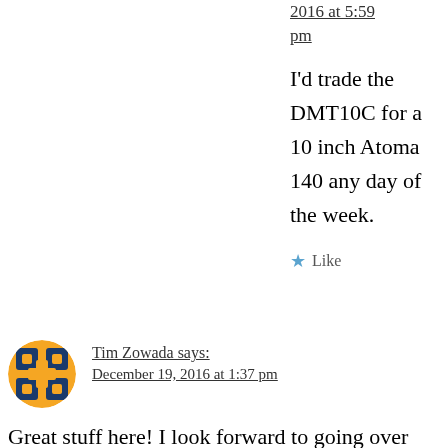2016 at 5:59 pm
I'd trade the DMT10C for a 10 inch Atoma 140 any day of the week.
★ Like
Tim Zowada says: December 19, 2016 at 1:37 pm
Great stuff here! I look forward to going over everything. I'm sure I'll learn a lot. This in enough to prod my friend to get his